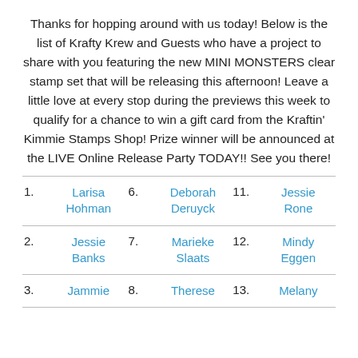Thanks for hopping around with us today! Below is the list of Krafty Krew and Guests who have a project to share with you featuring the new MINI MONSTERS clear stamp set that will be releasing this afternoon! Leave a little love at every stop during the previews this week to qualify for a chance to win a gift card from the Kraftin' Kimmie Stamps Shop! Prize winner will be announced at the LIVE Online Release Party TODAY!! See you there!
1. Larisa Hohman   6. Deborah Deruyck   11. Jessie Rone
2. Jessie Banks   7. Marieke Slaats   12. Mindy Eggen
3. Jammie   8. Therese   13. Melany